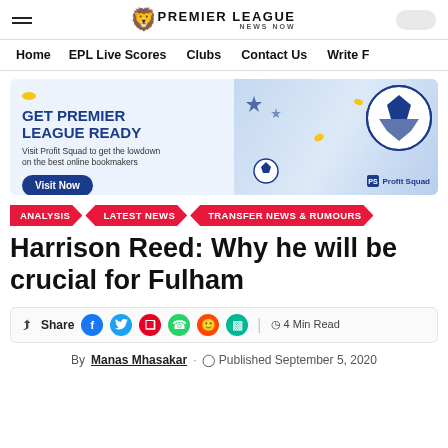PREMIER LEAGUE NEWS NOW
Home  EPL Live Scores  Clubs  Contact Us  Write F
[Figure (illustration): Advertisement banner for Profit Squad: 'GET PREMIER LEAGUE READY - Visit Profit Squad to get the lowdown on the best online bookmakers' with a Visit Now button, soccer ball graphic, and robot/player illustration on blue background]
ANALYSIS  /  LATEST NEWS  /  TRANSFER NEWS & RUMOURS
Harrison Reed: Why he will be crucial for Fulham
Share  [social icons]  4 Min Read
By Manas Mhasakar · Published September 5, 2020